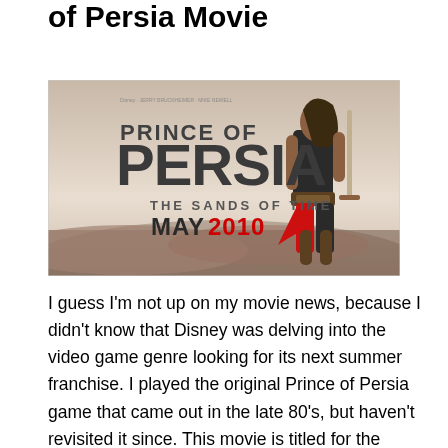of Persia Movie
[Figure (photo): Movie poster for Prince of Persia: The Sands of Time, MAY 2010, featuring a warrior character holding a sword against a desert backdrop.]
I guess I'm not up on my movie news, because I didn't know that Disney was delving into the video game genre looking for its next summer franchise. I played the original Prince of Persia game that came out in the late 80's, but haven't revisited it since. This movie is titled for the next...